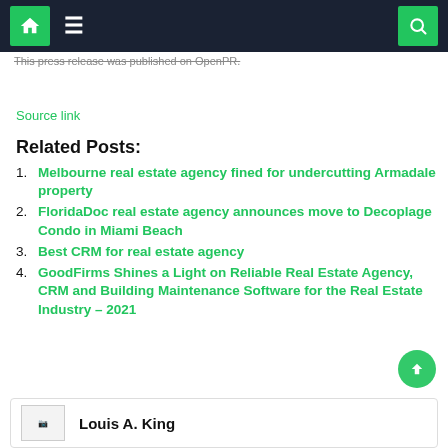This press release was published on OpenPR.
Source link
Related Posts:
Melbourne real estate agency fined for undercutting Armadale property
FloridaDoc real estate agency announces move to Decoplage Condo in Miami Beach
Best CRM for real estate agency
GoodFirms Shines a Light on Reliable Real Estate Agency, CRM and Building Maintenance Software for the Real Estate Industry – 2021
Louis A. King